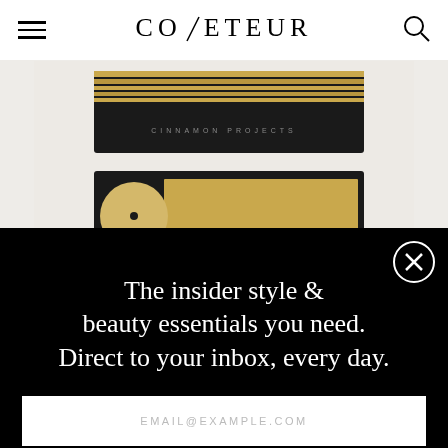COVETEUR
[Figure (photo): Product photo of Cinnamon Projects incense box set — black box with gold stripes on top and open box with gold circular incense holder below, on white/light grey background]
The insider style & beauty essentials you need. Direct to your inbox, every day.
EMAIL@EXAMPLE.COM
SIGN UP